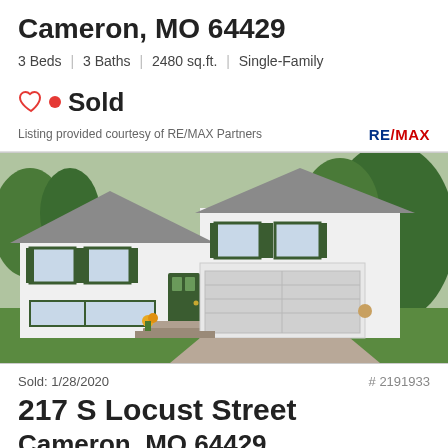Cameron, MO 64429
3 Beds | 3 Baths | 2480 sq.ft. | Single-Family
Sold
Listing provided courtesy of RE/MAX Partners
[Figure (photo): Exterior photo of a white two-story split-level single-family home with dark green shutters and door, attached two-car garage, gravel driveway, green lawn, and trees in background.]
Sold: 1/28/2020
# 2191933
217 S Locust Street
Cameron, MO 64429